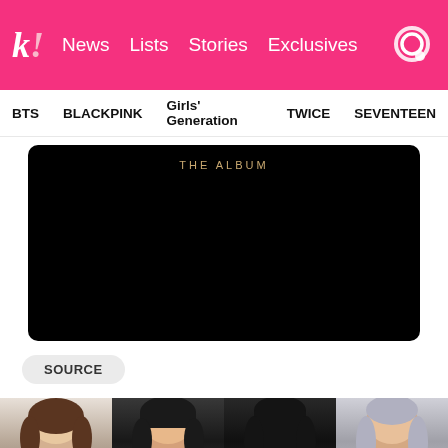k! News Lists Stories Exclusives
BTS BLACKPINK Girls' Generation TWICE SEVENTEEN
[Figure (photo): Black background image with 'THE ALBUM' text in gold/tan lettering centered near the top]
SOURCE
[Figure (photo): Four BLACKPINK members shown from shoulders up: Jisoo (brown wavy hair), Lisa (dark hair with bangs), Jennie (long dark hair), Rosé (silver/gray hair)]